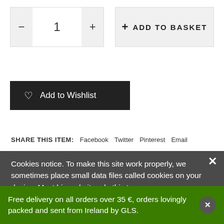[Figure (screenshot): Quantity selector with minus button, value '1', and plus button, followed by an 'ADD TO BASKET' button with a plus icon]
[Figure (screenshot): Dark 'Add to Wishlist' button with heart icon]
SHARE THIS ITEM:   Facebook   Twitter   Pinterest   Email
Cookies notice. To make this site work properly, we sometimes place small data files called cookies on your device. Most big websites do this too.
[Figure (screenshot): Green 'Accept' button with checkmark icon]
[Figure (screenshot): Green 'Read more' button with arrow icon]
[Figure (screenshot): Green 'Cookies Settings' button with gear icon]
Free delivery on all orders over 35 €, orders lovingly packed and sent from Ireland by GLS.